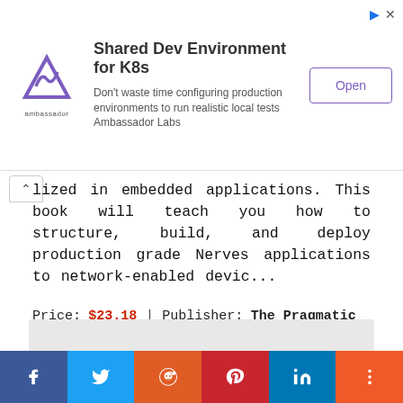[Figure (screenshot): Advertisement banner for Ambassador Labs - Shared Dev Environment for K8s with logo, description text and Open button]
lized in embedded applications. This book will teach you how to structure, build, and deploy production grade Nerves applications to network-enabled devic...
Price: $23.18 | Publisher: The Pragmatic Programmers | Release: 2022
[Figure (other): Gray placeholder content area]
[Figure (other): Social sharing bar with Facebook, Twitter, Reddit, Pinterest, LinkedIn, and More buttons]